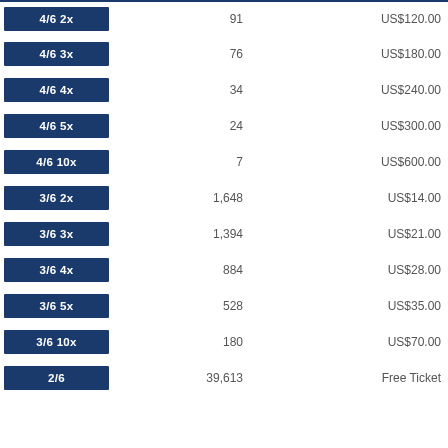| Match | Count | Prize |
| --- | --- | --- |
| 4/6 2x | 91 | US$120.00 |
| 4/6 3x | 76 | US$180.00 |
| 4/6 4x | 34 | US$240.00 |
| 4/6 5x | 24 | US$300.00 |
| 4/6 10x | 7 | US$600.00 |
| 3/6 2x | 1,648 | US$14.00 |
| 3/6 3x | 1,394 | US$21.00 |
| 3/6 4x | 884 | US$28.00 |
| 3/6 5x | 528 | US$35.00 |
| 3/6 10x | 180 | US$70.00 |
| 2/6 | 39,613 | Free Ticket |